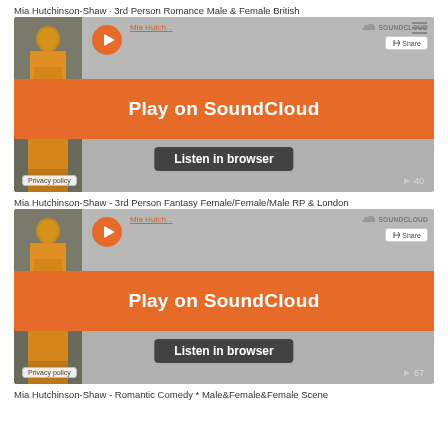Mia Hutchinson-Shaw · 3rd Person Romance Male & Female British
[Figure (screenshot): SoundCloud embedded player showing 'Mia Hutch...' track '3rd Per...' with orange Play on SoundCloud overlay, Listen in browser button, Privacy policy button, and play count of 40.]
Mia Hutchinson-Shaw - 3rd Person Fantasy Female/Female/Male RP & London
[Figure (screenshot): SoundCloud embedded player showing 'Mia Hutch...' track '1st Per...' with orange Play on SoundCloud overlay, Listen in browser button, Privacy policy button, and play count of 67.]
Mia Hutchinson-Shaw - Romantic Comedy * Male&Female&Female Scene